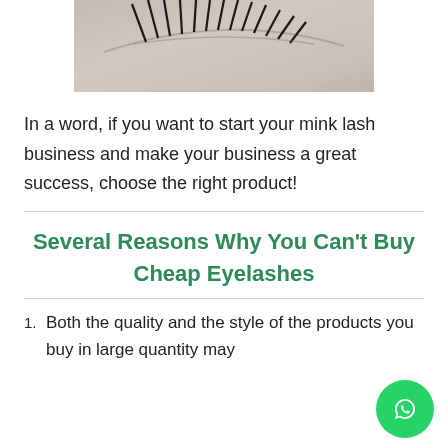[Figure (photo): Close-up photo of an eye with long black eyelashes on light skin background]
In a word, if you want to start your mink lash business and make your business a great success, choose the right product!
Several Reasons Why You Can't Buy Cheap Eyelashes
Both the quality and the style of the products you buy in large quantity may